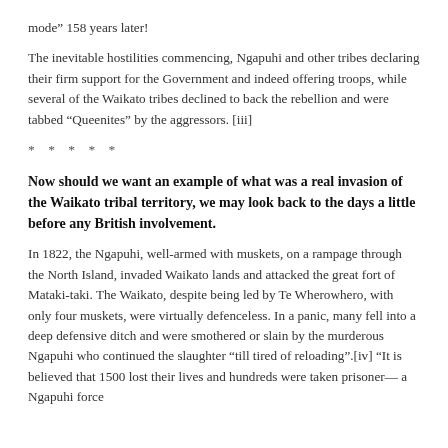mode” 158 years later!
The inevitable hostilities commencing, Ngapuhi and other tribes declaring their firm support for the Government and indeed offering troops, while several of the Waikato tribes declined to back the rebellion and were tabbed “Queenites” by the aggressors. [iii]
* * * * *
Now should we want an example of what was a real invasion of the Waikato tribal territory, we may look back to the days a little before any British involvement.
In 1822, the Ngapuhi, well-armed with muskets, on a rampage through the North Island, invaded Waikato lands and attacked the great fort of Mataki-taki. The Waikato, despite being led by Te Wherowhero, with only four muskets, were virtually defenceless. In a panic, many fell into a deep defensive ditch and were smothered or slain by the murderous Ngapuhi who continued the slaughter “till tired of reloading”.[iv] “It is believed that 1500 lost their lives and hundreds were taken prisoner— a Ngapuhi force